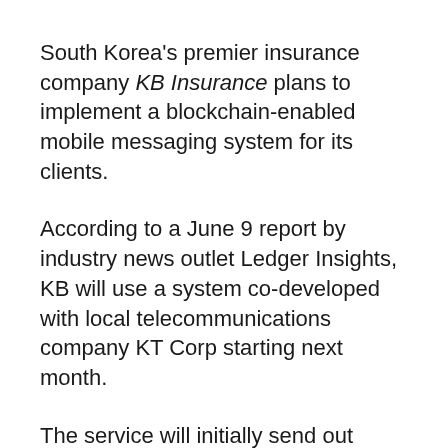South Korea's premier insurance company KB Insurance plans to implement a blockchain-enabled mobile messaging system for its clients.
According to a June 9 report by industry news outlet Ledger Insights, KB will use a system co-developed with local telecommunications company KT Corp starting next month.
The service will initially send out payment and termination notices to auto insurance customers, but the company plans to expand it to all of its customers. The goal is to reduce shipping costs and not send